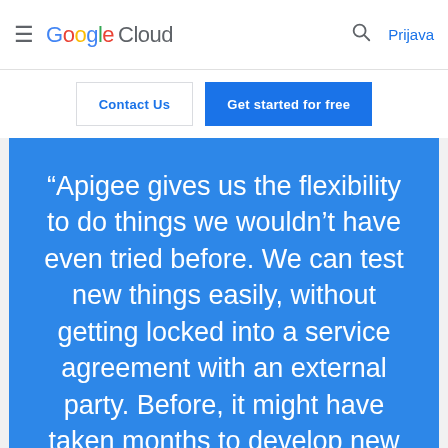Google Cloud  Prijava
Contact Us  Get started for free
“Apigee gives us the flexibility to do things we wouldn’t have even tried before. We can test new things easily, without getting locked into a service agreement with an external party. Before, it might have taken months to develop new product functionalities. Now it